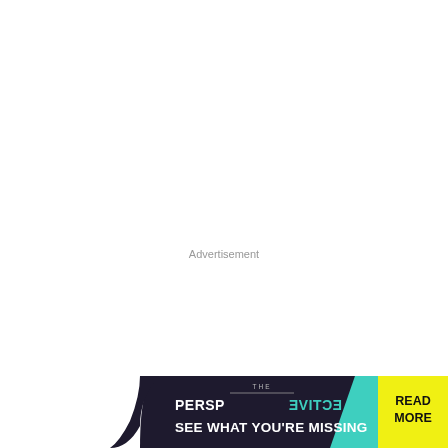Advertisement
[Figure (infographic): THE PERSPECTIVE brand advertisement banner with dark navy background, teal accent, yellow 'READ MORE' button. Text reads 'THE PERSPECTIVE SEE WHAT YOU'RE MISSING']